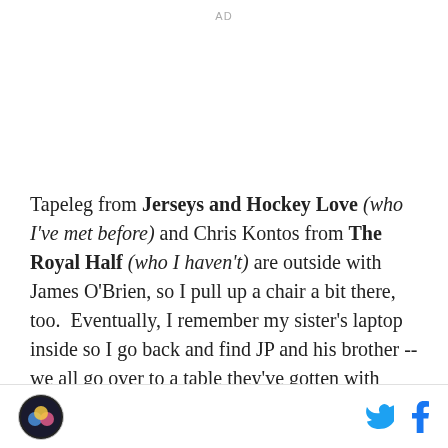AD
Tapeleg from Jerseys and Hockey Love (who I've met before) and Chris Kontos from The Royal Half (who I haven't) are outside with James O'Brien, so I pull up a chair a bit there, too.  Eventually, I remember my sister's laptop inside so I go back and find JP and his brother -- we all go over to a table they've gotten with Wyshynski.  This is all tons of fun,
[logo] [twitter] [facebook]